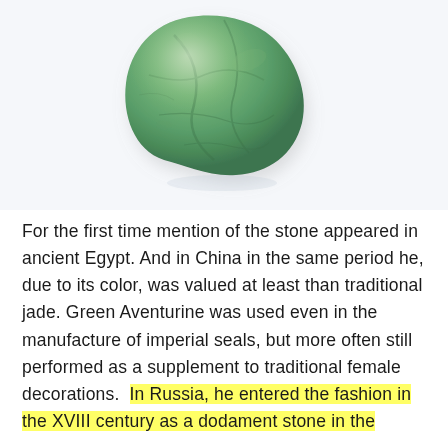[Figure (photo): A polished green aventurine tumble stone photographed against a light blue-white background. The stone is roughly triangular/rounded in shape with a smooth, matte green surface showing natural mineral variations.]
For the first time mention of the stone appeared in ancient Egypt. And in China in the same period he, due to its color, was valued at least than traditional jade. Green Aventurine was used even in the manufacture of imperial seals, but more often still performed as a supplement to traditional female decorations.  In Russia, he entered the fashion in the XVIII century as a dodament stone in the